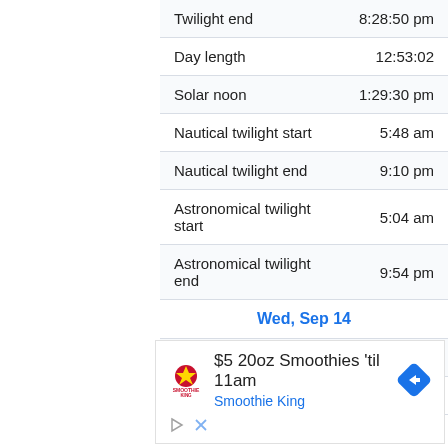|  |  |
| --- | --- |
| Twilight end | 8:28:50 pm |
| Day length | 12:53:02 |
| Solar noon | 1:29:30 pm |
| Nautical twilight start | 5:48 am |
| Nautical twilight end | 9:10 pm |
| Astronomical twilight start | 5:04 am |
| Astronomical twilight end | 9:54 pm |
| Wed, Sep 14 |  |
| Twilight start | 6:31:54 am |
| Sunrise | 7:04:40 am |
$5 20oz Smoothies 'til 11am
Smoothie King